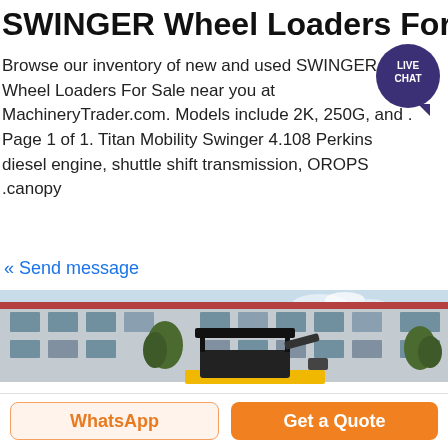SWINGER Wheel Loaders For Sale
Browse our inventory of new and used SWINGER Wheel Loaders For Sale near you at MachineryTrader.com. Models include 2K, 250G, and . Page 1 of 1. Titan Mobility Swinger 4.108 Perkins diesel engine, shuttle shift transmission, OROPS .canopy
« Send message
[Figure (photo): Photo of a black mini excavator or wheel loader with canopy, parked in front of a large industrial building with trees, yellow undercarriage visible]
WhatsApp
Get a Quote